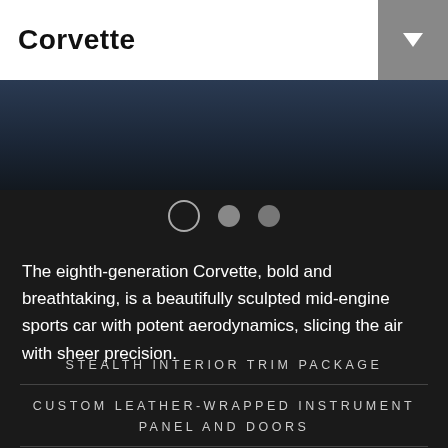Corvette
[Figure (photo): Dark blue automotive photo area showing the Corvette]
[Figure (infographic): Carousel indicator dots: one open circle, two filled circles]
The eighth-generation Corvette, bold and breathtaking, is a beautifully sculpted mid-engine sports car with potent aerodynamics, slicing the air with sheer precision.
STEALTH INTERIOR TRIM PACKAGE
CUSTOM LEATHER-WRAPPED INSTRUMENT PANEL AND DOORS